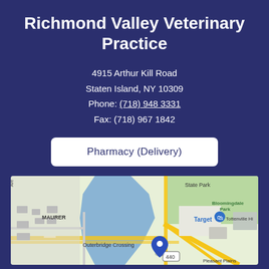Richmond Valley Veterinary Practice
4915 Arthur Kill Road
Staten Island, NY 10309
Phone: (718) 948 3331
Fax: (718) 967 1842
Pharmacy (Delivery)
[Figure (map): Google Maps screenshot showing area around 4915 Arthur Kill Road, Staten Island, NY 10309, with landmarks including Outerbridge Crossing, Target, State Park, Bloomingdale Park, Tottenville High, Pleasant Plains, MAURER neighborhood, and route 440.]
Read More
Brachycephalic airway obstruction syndrome